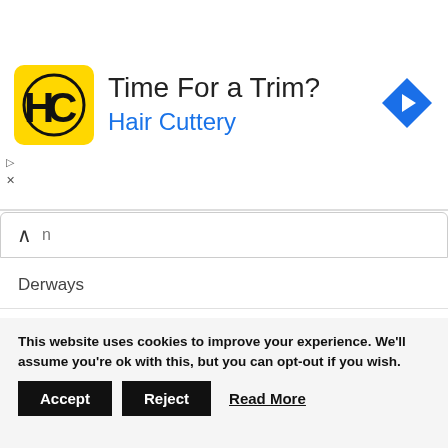[Figure (infographic): Hair Cuttery advertisement banner with yellow square logo showing HC initials, headline 'Time For a Trim?' and subheadline 'Hair Cuttery' in blue, with blue diamond navigation arrow icon on the right.]
Derways
Dodge
FAW
Fiat
Ford
Genesis
GMC
This website uses cookies to improve your experience. We'll assume you're ok with this, but you can opt-out if you wish.